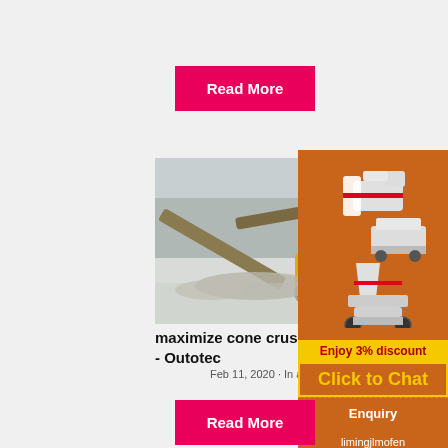Read More
[Figure (photo): Industrial cone crusher and mining equipment site in winter conditions with conveyors and machinery]
maximize cone crusher produ- - Outotec
Feb 11, 2020 · In addition to causing poo...
[Figure (illustration): Orange advertisement sidebar showing crusher machines, Enjoy 3% discount label, Click to Chat button, Enquiry section, and email limingjlmofen@sina.com]
Read More